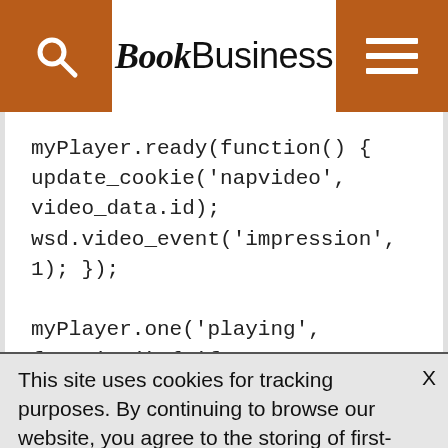BookBusiness
myPlayer.ready(function() {
update_cookie('napvideo', video_data.id);
wsd.video_event('impression', 1); });

myPlayer.one('playing', function() { if
(myPlayer.mediainfo.duration
This site uses cookies for tracking purposes. By continuing to browse our website, you agree to the storing of first- and third-party cookies on your device to enhance site navigation, analyze site usage, and assist in our marketing and communication efforts.
Privacy Policy | Terms of Use | Close